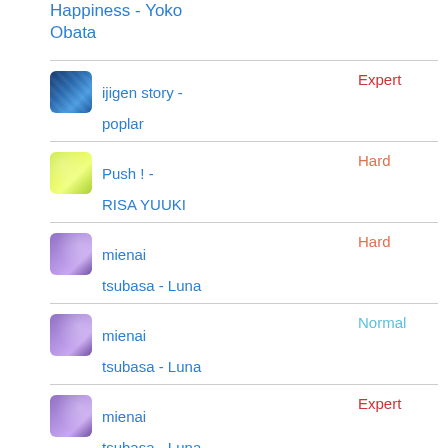Happiness - Yoko Obata
ijigen story - poplar | Expert
Push ! - RISA YUUKI | Hard
mienai tsubasa - Luna | Hard
mienai tsubasa - Luna | Normal
mienai tsubasa - Luna | Expert
Icchae! | Normal